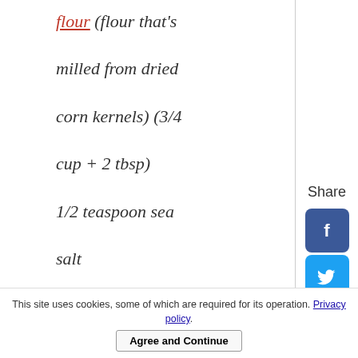flour (flour that's milled from dried corn kernels) (3/4 cup + 2 tbsp)
1/2 teaspoon sea salt
1/2 teaspoon baking powder
3 tbsp sunflower oil
120ml water (1/2...
This site uses cookies, some of which are required for its operation. Privacy policy.
Agree and Continue